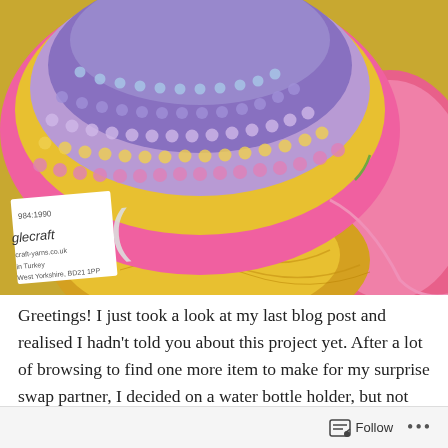[Figure (photo): Close-up photo of a crocheted item in pink, purple/lavender, and yellow stripes, placed on top of balls of yarn in yellow/gold and pink. Stylecraft yarn labels are visible in the background, showing text 'glecraft', 'craft-yarns.co.uk', 'in Turkey', 'West Yorkshire, BD21 1PP', '984:1990'.]
Greetings! I just took a look at my last blog post and realised I hadn't told you about this project yet. After a lot of browsing to find one more item to make for my surprise swap partner, I decided on a water bottle holder, but not the one that I designed a couple of years ago. No, I'm
Follow ...